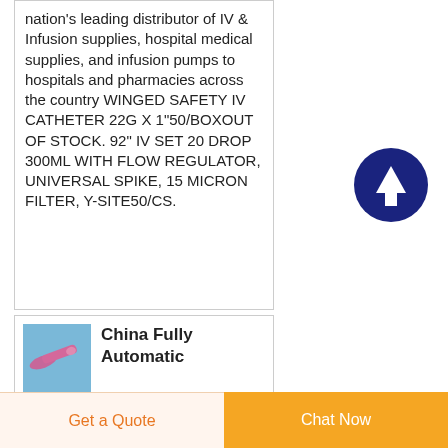nation's leading distributor of IV & Infusion supplies, hospital medical supplies, and infusion pumps to hospitals and pharmacies across the country WINGED SAFETY IV CATHETER 22G X 1"50/BOXOUT OF STOCK. 92" IV SET 20 DROP 300ML WITH FLOW REGULATOR, UNIVERSAL SPIKE, 15 MICRON FILTER, Y-SITE50/CS.
[Figure (illustration): Circular dark blue button with white upward arrow (scroll to top button)]
China Fully Automatic
[Figure (photo): Small thumbnail photo of a medical product (appears to be a catheter or similar pink/purple medical device on a blue background)]
Get a Quote    Chat Now